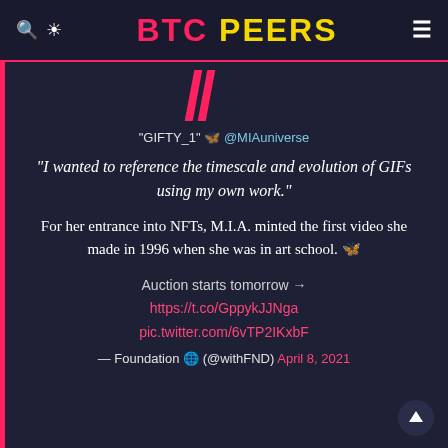BTC PEERS
[Figure (logo): Large red stylized double-slash quotation mark graphic]
"GIFTY_1" 🦋 @MIAuniverse
"I wanted to reference the timescale and evolution of GIFs using my own work."
For her entrance into NFTs, M.I.A. minted the first video she made in 1996 when she was in art school. 🦋
Auction starts tomorrow →
https://t.co/GppykJJNga
pic.twitter.com/6vTP2IKxbF
— Foundation 🌐 (@withFND) April 8, 2021